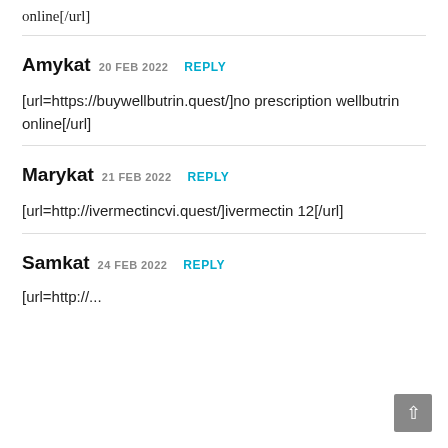online[/url]
Amykat 20 FEB 2022 REPLY
[url=https://buywellbutrin.quest/]no prescription wellbutrin online[/url]
Marykat 21 FEB 2022 REPLY
[url=http://ivermectincvi.quest/]ivermectin 12[/url]
Samkat 24 FEB 2022 REPLY
[url=http://...